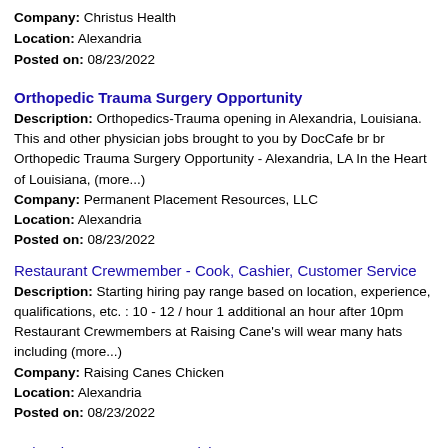Company: Christus Health
Location: Alexandria
Posted on: 08/23/2022
Orthopedic Trauma Surgery Opportunity
Description: Orthopedics-Trauma opening in Alexandria, Louisiana. This and other physician jobs brought to you by DocCafe br br Orthopedic Trauma Surgery Opportunity - Alexandria, LA In the Heart of Louisiana, (more...)
Company: Permanent Placement Resources, LLC
Location: Alexandria
Posted on: 08/23/2022
Restaurant Crewmember - Cook, Cashier, Customer Service
Description: Starting hiring pay range based on location, experience, qualifications, etc. : 10 - 12 / hour 1 additional an hour after 10pm Restaurant Crewmembers at Raising Cane's will wear many hats including (more...)
Company: Raising Canes Chicken
Location: Alexandria
Posted on: 08/23/2022
Salary in Baton Rouge, Louisiana Area | More details for